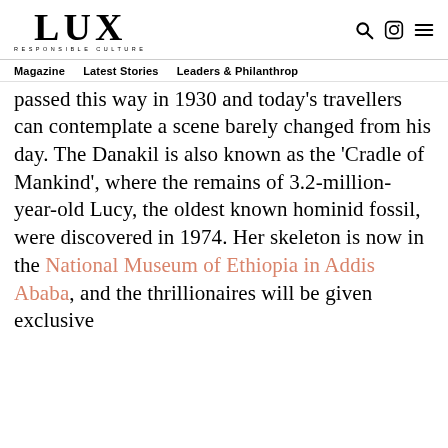LUX RESPONSIBLE CULTURE
Magazine  Latest Stories  Leaders & Philanthrop
passed this way in 1930 and today's travellers can contemplate a scene barely changed from his day. The Danakil is also known as the 'Cradle of Mankind', where the remains of 3.2-million-year-old Lucy, the oldest known hominid fossil, were discovered in 1974. Her skeleton is now in the National Museum of Ethiopia in Addis Ababa, and the thrillionaires will be given exclusive